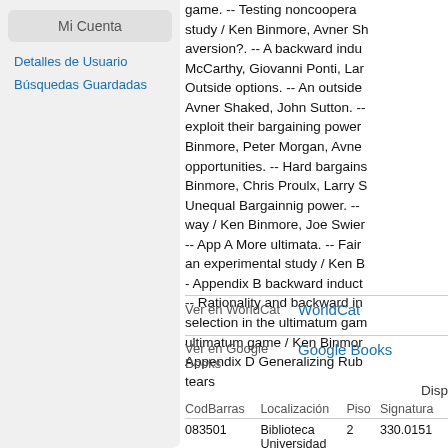Mi Cuenta
Detalles de Usuario
Búsquedas Guardadas
game. -- Testing noncoopera... study / Ken Binmore, Avner Sh... aversion?. -- A backward indu... McCarthy, Giovanni Ponti, Lar... Outside options. -- An outside... Avner Shaked, John Sutton. --... exploit their bargaining power... Binmore, Peter Morgan, Avne... opportunities. -- Hard bargains... Binmore, Chris Proulx, Larry S... Unequal Bargainnig power. --... way / Ken Binmore, Joe Swier... -- App A More ultimata. -- Fair... an experimental study / Ken B... - Appendix B backward duct... -- Rationality and backward in... selection in the ultimatum gam... ultimatum game / Ken Binmor... Appendix D Generalizing Rub... tears
Ver en WorldCat
WorldCat
Ver en Google Books
Google Books
Disp
| CodBarras | Localización | Piso | Signatura |
| --- | --- | --- | --- |
| 083501 | Biblioteca Universidad | 2 | 330.0151... |